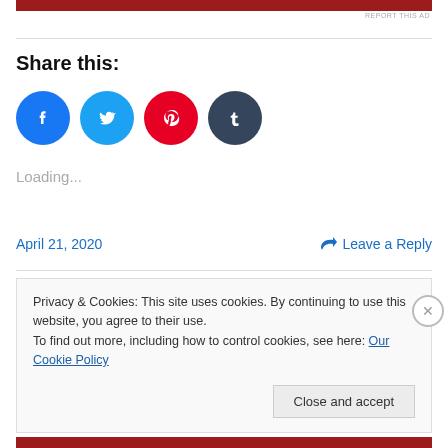[Figure (other): Red advertisement bar at top]
REPORT THIS AD
Share this:
[Figure (infographic): Social share buttons: Facebook (blue circle), Twitter (cyan circle), Pinterest (red circle), Tumblr (dark circle)]
Loading...
April 21, 2020
💬 Leave a Reply
Privacy & Cookies: This site uses cookies. By continuing to use this website, you agree to their use.
To find out more, including how to control cookies, see here: Our Cookie Policy
Close and accept